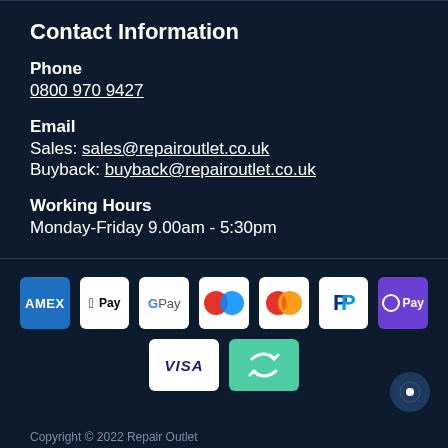Contact Information
Phone
0800 970 9427
Email
Sales: sales@repairoutlet.co.uk
Buyback: buyback@repairoutlet.co.uk
Working Hours
Monday-Friday 9.00am - 5:30pm
[Figure (other): Payment method icons: AMEX, Apple Pay, Google Pay, Klarna, Mastercard, PayPal, O Pay, VISA, and a return/recycling icon]
Copyright © 2022 Repair Outlet